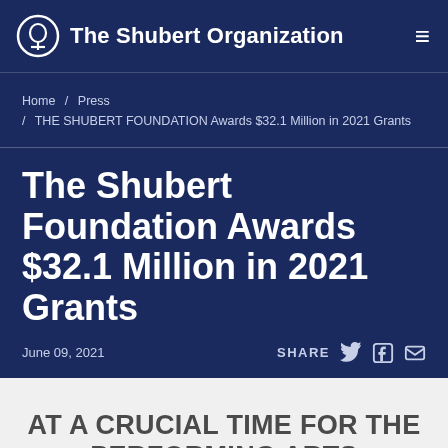The Shubert Organization
Home / Press / THE SHUBERT FOUNDATION Awards $32.1 Million in 2021 Grants
The Shubert Foundation Awards $32.1 Million in 2021 Grants
June 09, 2021   SHARE
AT A CRUCIAL TIME FOR THE PERFORMING ARTS

THE SHUBERT FOUNDATION